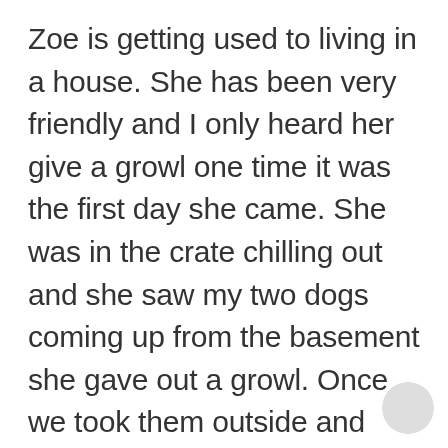Zoe is getting used to living in a house. She has been very friendly and I only heard her give a growl one time it was the first day she came. She was in the crate chilling out and she saw my two dogs coming up from the basement she gave out a growl. Once we took them outside and brought Zoe out to meet them everything was fine. Tonight as I was typing up this update she was laying on the floor by my feet, she started growling a little bit. I wasn't sure what her problem was then I realized she saw her own reflection in the glass TV cabinet.